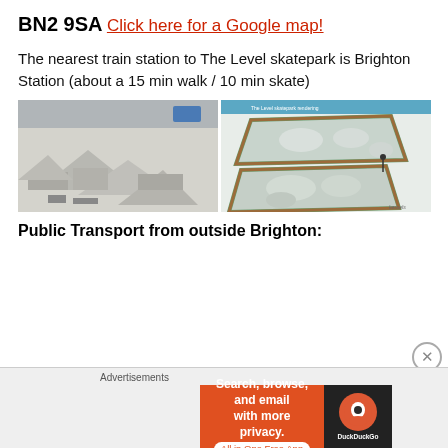BN2 9SA
Click here for a Google map!
The nearest train station to The Level skatepark is Brighton Station (about a 15 min walk / 10 min skate)
[Figure (photo): Two images side by side: left shows an aerial view of a concrete skatepark with ramps and ledges; right shows a 3D architectural rendering of The Level skatepark design with two triangular areas of terrain.]
Public Transport from outside Brighton:
[Figure (infographic): Advertisement banner: DuckDuckGo ad reading 'Search, browse, and email with more privacy. All in One Free App' with DuckDuckGo logo on dark background.]